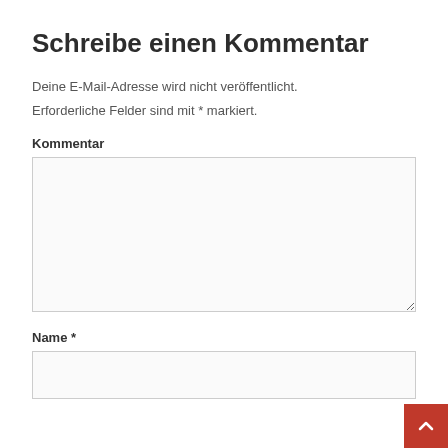Schreibe einen Kommentar
Deine E-Mail-Adresse wird nicht veröffentlicht. Erforderliche Felder sind mit * markiert.
Kommentar
Name *